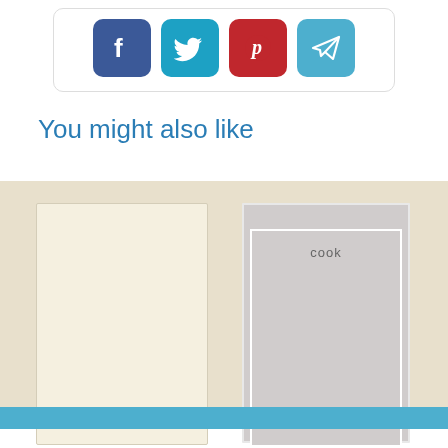[Figure (screenshot): Social media share buttons: Facebook (blue), Twitter (cyan), Pinterest (red), Telegram (light blue) as rounded square icon buttons in a card]
You might also like
[Figure (illustration): Book cover placeholder for Orchestra: The LSO - cream/off-white blank cover]
Orchestra: The LSO
[Figure (illustration): Book cover placeholder for cook - gray cover with white inner border and 'cook' text at top]
cook